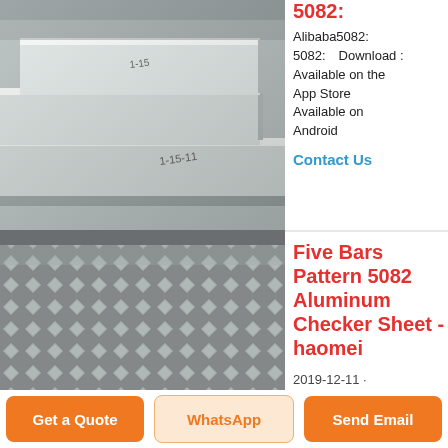[Figure (photo): Stacked aluminum sheets/plates showing thickness and edge detail, metallic silver color]
5082: Alibaba5082:　5082:　Download : Available on the App Store Available on Android
Contact Us
[Figure (photo): Five bars pattern 5082 aluminum checker sheet, diamond/checker pattern surface texture, dark grey metallic, with watermark www.hunyosi.com]
Five Bars Pattern 5082 Aluminum Checker Sheet - haomei
2019-12-11 ·
Get a Quote
WhatsApp
Send Email